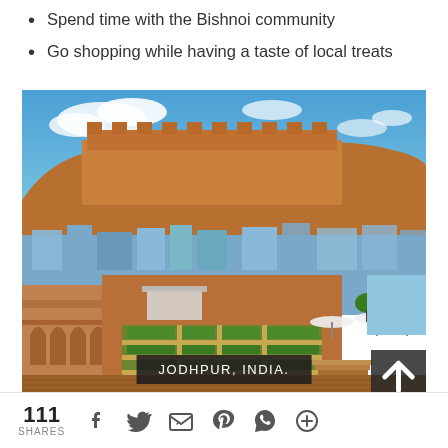Spend time with the Bishnoi community
Go shopping while having a taste of local treats
[Figure (photo): Aerial view of Jodhpur, India showing the Mehrangarh Fort on a rocky hill above the blue city with sandstone buildings and manicured garden courtyards in the foreground under a partly cloudy sky]
JODHPUR, INDIA.
111 SHARES